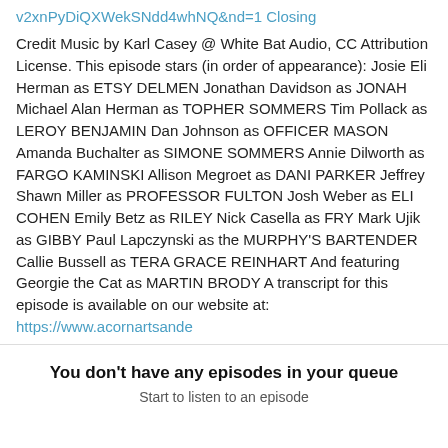v2xnPyDiQXWekSNdd4whNQ&nd=1 Closing
Credit Music by Karl Casey @ White Bat Audio, CC Attribution License. This episode stars (in order of appearance): Josie Eli Herman as ETSY DELMEN Jonathan Davidson as JONAH Michael Alan Herman as TOPHER SOMMERS Tim Pollack as LEROY BENJAMIN Dan Johnson as OFFICER MASON Amanda Buchalter as SIMONE SOMMERS Annie Dilworth as FARGO KAMINSKI Allison Megroet as DANI PARKER Jeffrey Shawn Miller as PROFESSOR FULTON Josh Weber as ELI COHEN Emily Betz as RILEY Nick Casella as FRY Mark Ujik as GIBBY Paul Lapczynski as the MURPHY'S BARTENDER Callie Bussell as TERA GRACE REINHART And featuring Georgie the Cat as MARTIN BRODY A transcript for this episode is available on our website at: https://www.acornartsande
You don't have any episodes in your queue
Start to listen to an episode